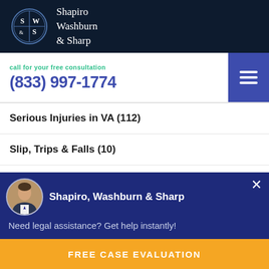Shapiro Washburn & Sharp
call for your free consultation
(833) 997-1774
Serious Injuries in VA (112)
Slip, Trips & Falls (10)
Slip, Trips & Falls in NC (5)
Talcum Powder Cancer Lawsuits (2)
Shapiro, Washburn & Sharp
Need legal assistance? Get help instantly!
FREE CASE EVALUATION